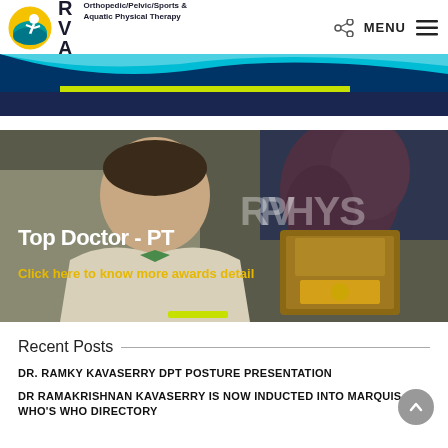RVA Orthopedic/Pelvic/Sports & Aquatic Physical Therapy — MENU
[Figure (photo): Website header banner with wave graphic in teal/blue and dark navy background]
[Figure (photo): Doctor holding award plaque in front of RVA PHYS background banner. White overlay text reads 'Top Doctor - PT' and yellow text reads 'Click here to know more awards detail']
Recent Posts
DR. RAMKY KAVASERRY DPT POSTURE PRESENTATION
DR RAMAKRISHNAN KAVASERRY IS NOW INDUCTED INTO MARQUIS WHO'S WHO DIRECTORY